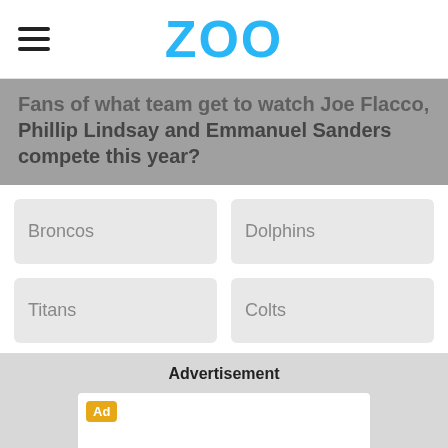ZOO
Fans of what team get to watch Joe Flacco, Phillip Lindsay and Emmanuel Sanders compete this year?
Broncos
Dolphins
Titans
Colts
Advertisement
[Figure (other): Advertisement placeholder box with Ad badge]